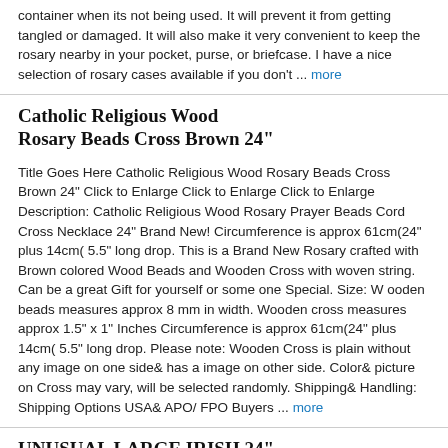container when its not being used. It will prevent it from getting tangled or damaged. It will also make it very convenient to keep the rosary nearby in your pocket, purse, or briefcase. I have a nice selection of rosary cases available if you don't ... more
Catholic Religious Wood Rosary Beads Cross Brown 24"
Title Goes Here Catholic Religious Wood Rosary Beads Cross Brown 24" Click to Enlarge Click to Enlarge Click to Enlarge Description: Catholic Religious Wood Rosary Prayer Beads Cord Cross Necklace 24" Brand New! Circumference is approx 61cm(24" plus 14cm( 5.5" long drop. This is a Brand New Rosary crafted with Brown colored Wood Beads and Wooden Cross with woven string. Can be a great Gift for yourself or some one Special. Size: W ooden beads measures approx 8 mm in width. Wooden cross measures approx 1.5" x 1" Inches Circumference is approx 61cm(24" plus 14cm( 5.5" long drop. Please note: Wooden Cross is plain without any image on one side& has a image on other side. Color& picture on Cross may vary, will be selected randomly. Shipping& Handling: Shipping Options USA& APO/ FPO Buyers ... more
UNUSUAL LARGE IRISH 24" CATHOLIC CHRISTIAN ROSARY BEADS OR NECKLACE ERIN
UNUSUAL LARGE IRISH 24" CATHOLIC CHRISTIAN ROSARY BEADS OR NECKLACE ERIN THIS IS A MAGNIFICIENT EXTRA LARGE VINTAGE CATHOLIC ROSARY MARKED ERIN. THE BEADS APPEAR TO BE STONE OR MARBLE. IT IS A VERY SUBSTANTIALLY MADE ROSARY AND IT MEASURES A GENEROUS 24" LONG. THE CROSS IS MARKED ERIN AND IT IS JUST IN TIME FOR SAINT PATRICK'S ...